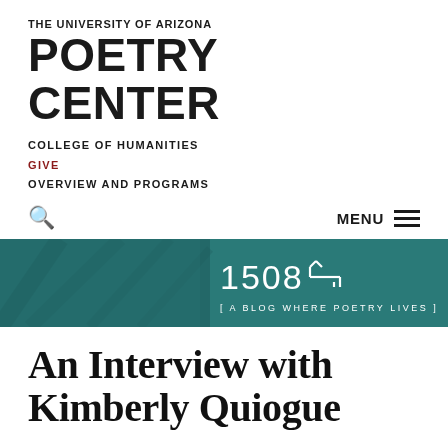THE UNIVERSITY OF ARIZONA
POETRY CENTER
COLLEGE OF HUMANITIES
GIVE
OVERVIEW AND PROGRAMS
MENU
[Figure (illustration): 1508 blog banner with teal background and decorative architectural image on the left, white text reading '1508' with a key-like icon and subtitle '[ A BLOG WHERE POETRY LIVES ]']
An Interview with Kimberly Quiogue